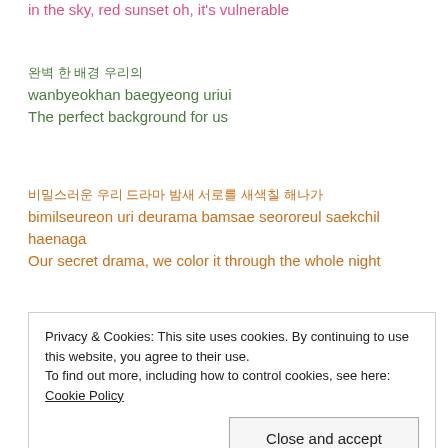in the sky, red sunset oh, it's vulnerable
완벽 한 배경 우리의
wanbyeokhan baegyeong uriui
The perfect background for us
비밀스러운 우리 드라마 밤새 서로를 새색칠 해나가
bimilseureon uri deurama bamsae seororeul saekchil haenaga
Our secret drama, we color it through the whole night
둘만의 Canvas (canvas) 가득 채워 나가
dulmanui Canvas (canvas) gadeuk chaewo naga
Privacy & Cookies: This site uses cookies. By continuing to use this website, you agree to their use.
To find out more, including how to control cookies, see here: Cookie Policy
Close and accept